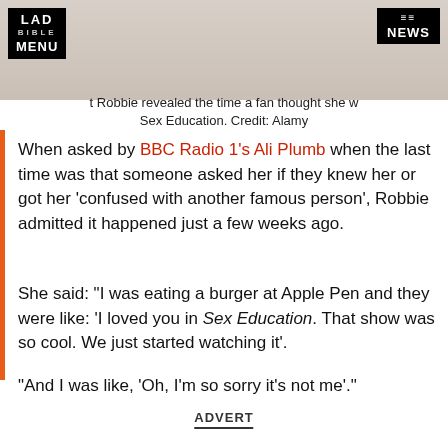LAD BIBLE MENU | NEWS
[Figure (photo): Photo of a blonde person at top, partially visible, with LAD BIBLE MENU logo on left and NEWS icon on right]
Margot Robbie revealed the time a fan thought she was in Sex Education. Credit: Alamy
When asked by BBC Radio 1's Ali Plumb when the last time was that someone asked her if they knew her or got her 'confused with another famous person', Robbie admitted it happened just a few weeks ago.
She said: "I was eating a burger at Apple Pen and they were like: 'I loved you in Sex Education. That show was so cool. We just started watching it'.
"And I was like, 'Oh, I'm so sorry it's not me'."
ADVERT